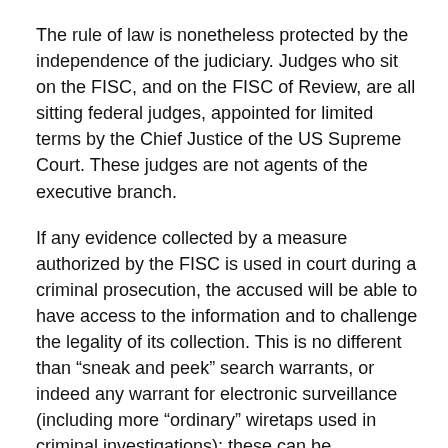The rule of law is nonetheless protected by the independence of the judiciary. Judges who sit on the FISC, and on the FISC of Review, are all sitting federal judges, appointed for limited terms by the Chief Justice of the US Supreme Court. These judges are not agents of the executive branch.
If any evidence collected by a measure authorized by the FISC is used in court during a criminal prosecution, the accused will be able to have access to the information and to challenge the legality of its collection. This is no different than “sneak and peek” search warrants, or indeed any warrant for electronic surveillance (including more “ordinary” wiretaps used in criminal investigations); these can be challenged if and when they are used in court against the accused, but not before.
We can certainly, if we choose, select a different choice along the spectrum, requiring for example more disclosure of FISC opinions, and less operational secrecy. We can even decide, if we wish, that an individual must be notified whenever a court is considering allowing electronic